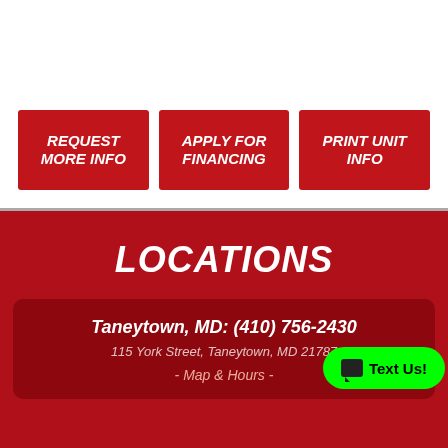REQUEST MORE INFO
APPLY FOR FINANCING
PRINT UNIT INFO
LOCATIONS
Taneytown, MD: (410) 756-2430
115 York Street, Taneytown, MD 21787
- Map & Hours -
Text Us!